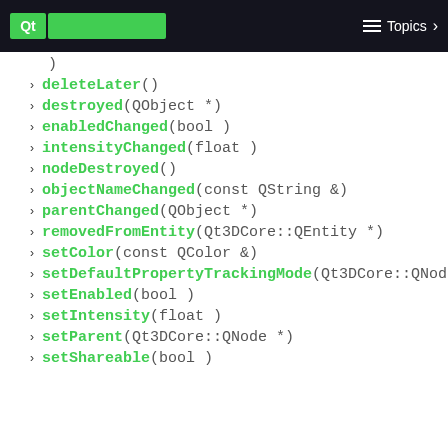Qt  Topics
)
deleteLater()
destroyed(QObject *)
enabledChanged(bool )
intensityChanged(float )
nodeDestroyed()
objectNameChanged(const QString &)
parentChanged(QObject *)
removedFromEntity(Qt3DCore::QEntity *)
setColor(const QColor &)
setDefaultPropertyTrackingMode(Qt3DCore::QNode::PropertyTrac
setEnabled(bool )
setIntensity(float )
setParent(Qt3DCore::QNode *)
setShareable(bool )